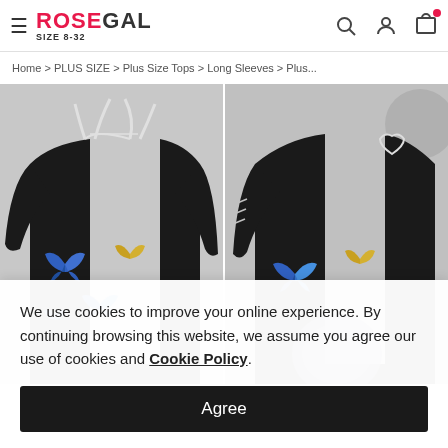ROSEGAL SIZE 8-32
Home > PLUS SIZE > Plus Size Tops > Long Sleeves > Plus...
[Figure (photo): Two product photos of black long-sleeve butterfly print tops on grey background, side by side]
We use cookies to improve your online experience. By continuing browsing this website, we assume you agree our use of cookies and Cookie Policy.
Agree